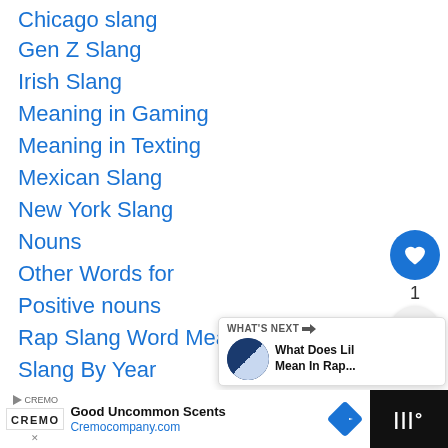Chicago slang
Gen Z Slang
Irish Slang
Meaning in Gaming
Meaning in Texting
Mexican Slang
New York Slang
Nouns
Other Words for
Positive nouns
Rap Slang Word Meanings
Slang By Year
Slang in US States
[Figure (infographic): Heart (like) button with blue circle, count of 1, and share button below it on the right side]
[Figure (infographic): What's Next panel showing a thumbnail image and text: What Does Lil Mean In Rap...]
[Figure (infographic): Advertisement bar at bottom: Cremo company - Good Uncommon Scents - Cremocompany.com]